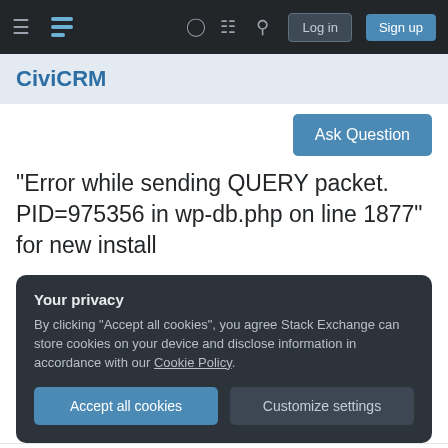CiviCRM — Stack Exchange navigation bar with Log in and Sign up buttons
CiviCRM
Ask Question
"Error while sending QUERY packet. PID=975356 in wp-db.php on line 1877" for new install
Your privacy
By clicking "Accept all cookies", you agree Stack Exchange can store cookies on your device and disclose information in accordance with our Cookie Policy.
Accept all cookies   Customize settings
I end up with the following error when installing the